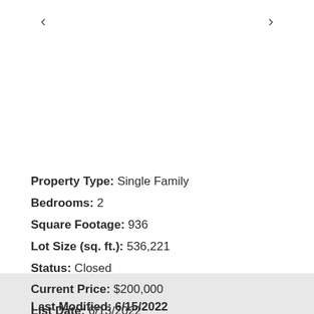‹
›
Property Type: Single Family
Bedrooms: 2
Square Footage: 936
Lot Size (sq. ft.): 536,221
Status: Closed
Current Price: $200,000
List Date: 6/13/2022
Last Modified: 6/15/2022